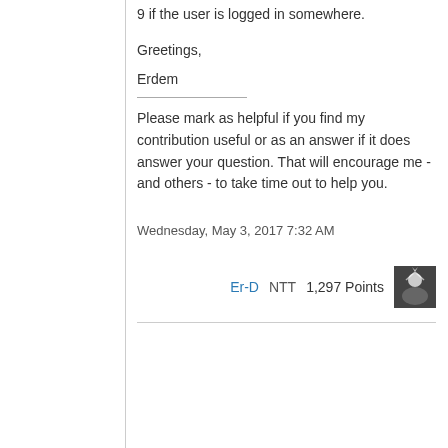9 if the user is logged in somewhere.
Greetings,
Erdem
Please mark as helpful if you find my contribution useful or as an answer if it does answer your question. That will encourage me - and others - to take time out to help you.
Wednesday, May 3, 2017 7:32 AM
Er-D NTT  1,297 Points